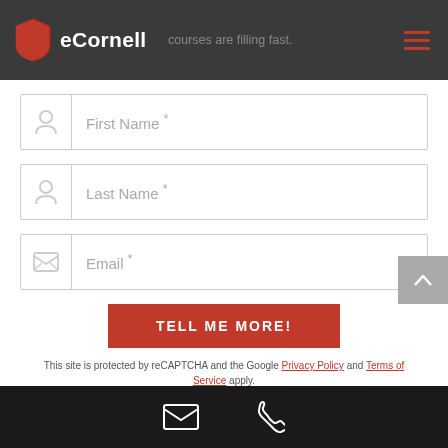eCornell — courses are filling fast.
[Figure (screenshot): eCornell registration form with fields for First Name, Last Name, Email, a TELL ME MORE! submit button, and reCAPTCHA notice. Footer with email and phone icons.]
First Name *
Last Name *
Email *
TELL ME MORE!
This site is protected by reCAPTCHA and the Google Privacy Policy and Terms of Service apply.